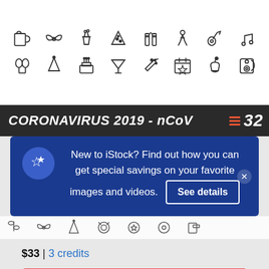[Figure (illustration): Grid of party/celebration outline icons including beer mug, bow, champagne bucket, pizza, bottles, dancer, guitar, music notes, balloons, party hat, cake, martini, party favor, calendar, cupcake, music speaker]
[Figure (screenshot): Dark banner with text CORONAVIRUS 2019 - nCoV and red stripe number 32 in corner]
[Figure (screenshot): iStock popup overlay: blue star icon circle, white text 'New to iStock? Find out how you can get special savings on your favorite images and videos.' with 'See details' button and X close button]
[Figure (illustration): Partial row of celebration outline icons visible behind popup]
$33 | 3 credits
Continue with purchase